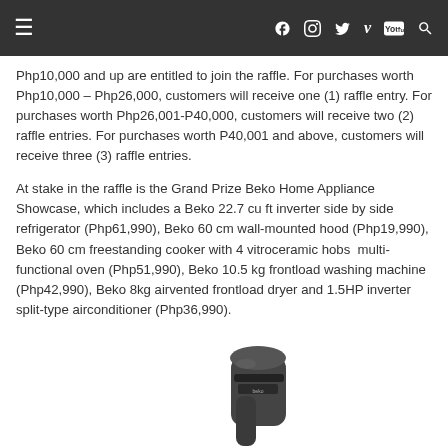≡   f  [instagram]  [twitter]  v  [youtube]  [search]
Php10,000 and up are entitled to join the raffle. For purchases worth Php10,000 – Php26,000, customers will receive one (1) raffle entry. For purchases worth Php26,001-P40,000, customers will receive two (2) raffle entries. For purchases worth P40,001 and above, customers will receive three (3) raffle entries.
At stake in the raffle is the Grand Prize Beko Home Appliance Showcase, which includes a Beko 22.7 cu ft inverter side by side refrigerator (Php61,990), Beko 60 cm wall-mounted hood (Php19,990), Beko 60 cm freestanding cooker with 4 vitroceramic hobs  multi-functional oven (Php51,990), Beko 10.5 kg frontload washing machine (Php42,990), Beko 8kg airvented frontload dryer and 1.5HP inverter split-type airconditioner (Php36,990).
[Figure (photo): Product image of a Beko handheld appliance (appears to be a vacuum or steam device) in dark grey/black color, partially visible at bottom of page.]